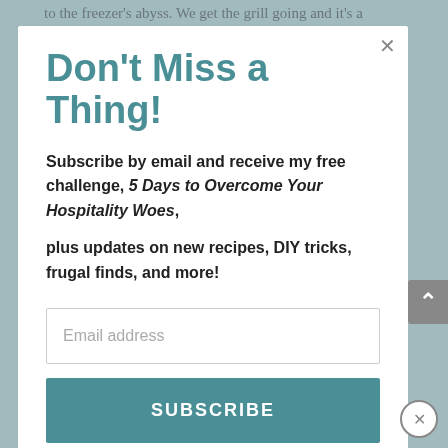to the freezer's abyss. We get the grill going and it's a carnivore delight as I work my way through our deep
Don't Miss a Thing!
Subscribe by email and receive my free challenge, 5 Days to Overcome Your Hospitality Woes, plus updates on new recipes, DIY tricks, frugal finds, and more!
Email address
SUBSCRIBE